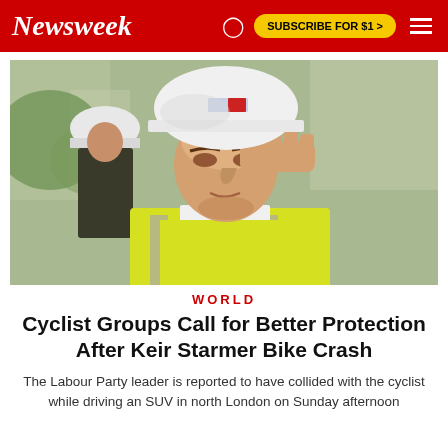Newsweek
[Figure (photo): Man wearing a white hard hat and yellow hi-vis vest shielding his eyes from the sun with his hand, with another person in a white hard hat visible behind him and a blurred construction site in the background.]
WORLD
Cyclist Groups Call for Better Protection After Keir Starmer Bike Crash
The Labour Party leader is reported to have collided with the cyclist while driving an SUV in north London on Sunday afternoon